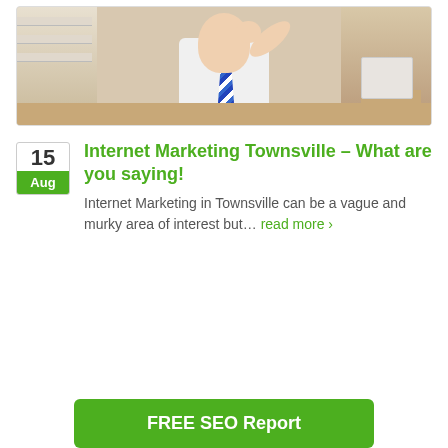[Figure (photo): Photo of a businessman in white shirt and blue striped tie, seated at a desk, with hand raised near face, office/cork board background]
Internet Marketing Townsville – What are you saying!
Internet Marketing in Townsville can be a vague and murky area of interest but… read more ›
FREE SEO Report